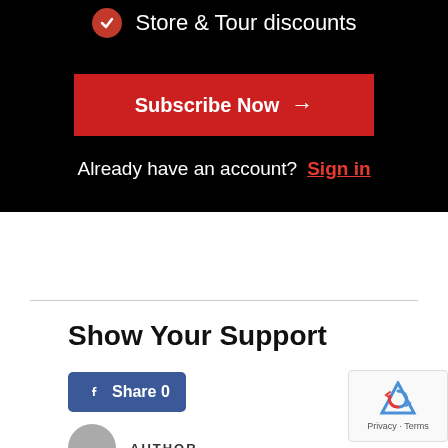Store & Tour discounts
[Figure (other): Red Subscribe Now button with arrow]
Already have an account?  Sign in
Show Your Support
[Figure (other): Facebook Share button with count 0]
AUTHOR
[Figure (other): reCAPTCHA badge with Privacy and Terms links]